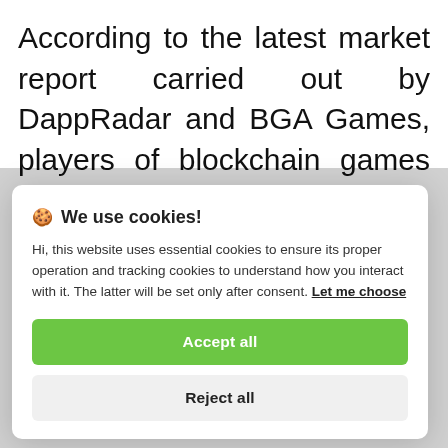According to the latest market report carried out by DappRadar and BGA Games, players of blockchain games reached an all-time high in April. The decentralized applications (dapps) that...
🍪 We use cookies!

Hi, this website uses essential cookies to ensure its proper operation and tracking cookies to understand how you interact with it. The latter will be set only after consent. Let me choose
Accept all
Reject all